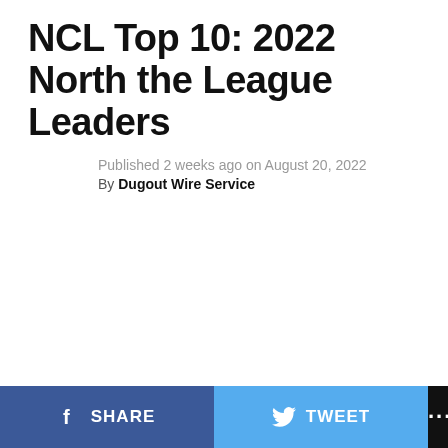NCL Top 10: 2022 North the League Leaders
Published 2 weeks ago on August 20, 2022
By Dugout Wire Service
SHARE  TWEET  ...